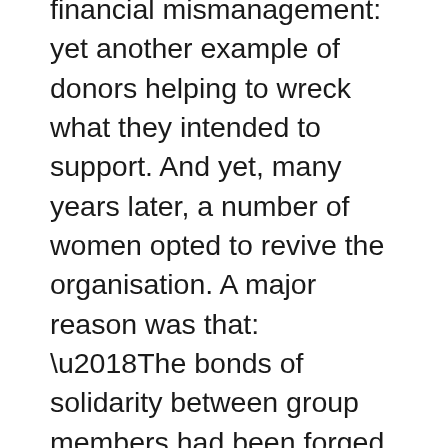financial mismanagement: yet another example of donors helping to wreck what they intended to support. And yet, many years later, a number of women opted to revive the organisation. A major reason was that: ‘The bonds of solidarity between group members had been forged and strengthened through many years of dealing with adversity together’, and that the experience of ‘unconditional support in their efforts to better their own lives and the lives of others’ (p. 274) had